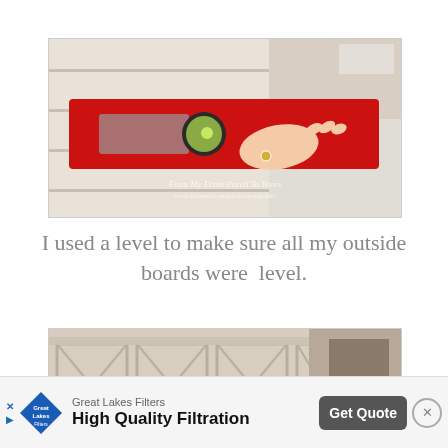[Figure (photo): A hand using a red spirit level tool placed against white molding boards on a wall, checking that boards are level. Watermark reads 'From My Front Porch To Yours www.frommyfrontporchtoyours.info']
I used a level to make sure all my outside boards were  level.
[Figure (photo): Interior room photo showing decorative wainscoting wall panels with cross/X pattern trim details on beige walls, with a glimpse of a bedroom in the background.]
Great Lakes Filters
High Quality Filtration
Get Quote